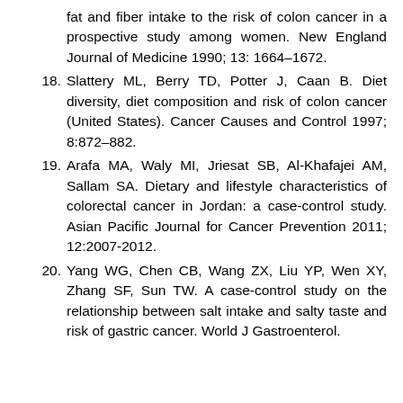fat and fiber intake to the risk of colon cancer in a prospective study among women. New England Journal of Medicine 1990; 13: 1664–1672.
18. Slattery ML, Berry TD, Potter J, Caan B. Diet diversity, diet composition and risk of colon cancer (United States). Cancer Causes and Control 1997; 8:872–882.
19. Arafa MA, Waly MI, Jriesat SB, Al-Khafajei AM, Sallam SA. Dietary and lifestyle characteristics of colorectal cancer in Jordan: a case-control study. Asian Pacific Journal for Cancer Prevention 2011; 12:2007-2012.
20. Yang WG, Chen CB, Wang ZX, Liu YP, Wen XY, Zhang SF, Sun TW. A case-control study on the relationship between salt intake and salty taste and risk of gastric cancer. World J Gastroenterol.